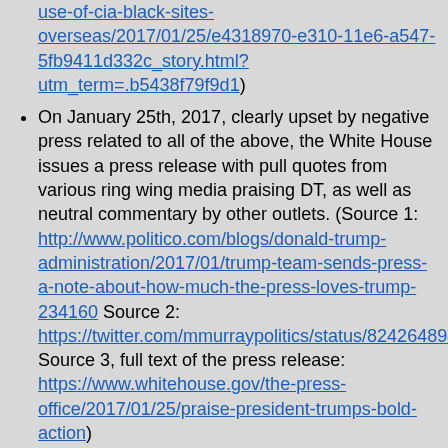use-of-cia-black-sites-overseas/2017/01/25/e4318970-e310-11e6-a547-5fb9411d332c_story.html?utm_term=.b5438f79f9d1
On January 25th, 2017, clearly upset by negative press related to all of the above, the White House issues a press release with pull quotes from various ring wing media praising DT, as well as neutral commentary by other outlets. (Source 1: http://www.politico.com/blogs/donald-trump-administration/2017/01/trump-team-sends-press-a-note-about-how-much-the-press-loves-trump-234160 Source 2: https://twitter.com/mmurraypolitics/status/824264894606442496 Source 3, full text of the press release: https://www.whitehouse.gov/the-press-office/2017/01/25/praise-president-trumps-bold-action)
On January 25th, 2017, Spicer confirmed that there will be investigations of voter fraud prompted by baseless accusations of DT that massive voter fraud occurred. These investigations would focus on large urban population centers that DT lost, and are most